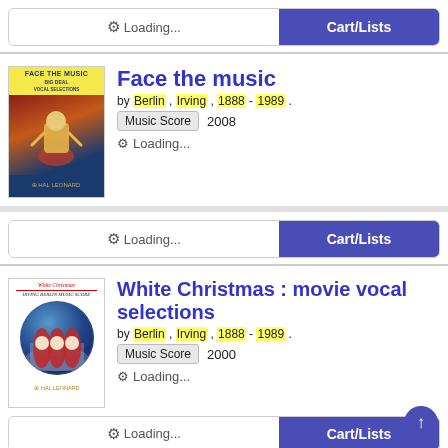Loading...  Cart/Lists
[Figure (screenshot): Book cover: Face the Music, dark blue with yellow title bar and illustrated figure]
Face the music
by Berlin , Irving , 1888 - 1989 .
Music Score  2008
Loading...
Loading...  Cart/Lists
[Figure (screenshot): Book cover: White Christmas, movie vocal selections, with circular scene of carolers in winter]
White Christmas : movie vocal selections
by Berlin , Irving , 1888 - 1989 .
Music Score  2000
Loading...
Loading...  Cart/Lists